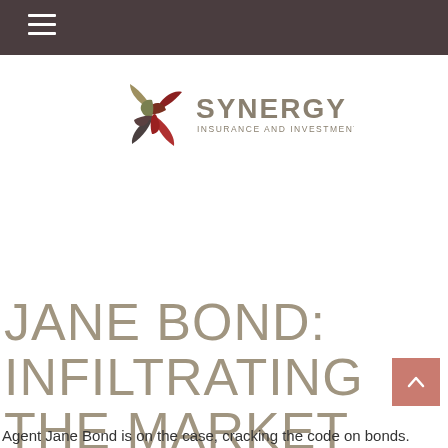[Figure (logo): Synergy Insurance and Investments logo — pinwheel with red, dark grey, and olive/tan petals on the left; text 'SYNERGY' in large grey letters and 'INSURANCE AND INVESTMENTS' in smaller grey letters on the right]
JANE BOND: INFILTRATING THE MARKET
Agent Jane Bond is on the case, cracking the code on bonds.